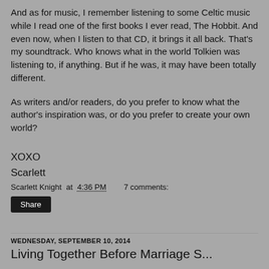And as for music, I remember listening to some Celtic music while I read one of the first books I ever read, The Hobbit. And even now, when I listen to that CD, it brings it all back. That's my soundtrack. Who knows what in the world Tolkien was listening to, if anything. But if he was, it may have been totally different.
As writers and/or readers, do you prefer to know what the author's inspiration was, or do you prefer to create your own world?
XOXO
Scarlett
Scarlett Knight at 4:36 PM   7 comments:
Share
WEDNESDAY, SEPTEMBER 10, 2014
Living Together Before Marriage S...